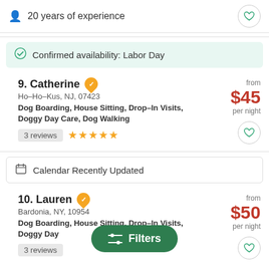20 years of experience
Confirmed availability: Labor Day
9. Catherine — Ho-Ho-Kus, NJ, 07423 — Dog Boarding, House Sitting, Drop-In Visits, Doggy Day Care, Dog Walking — 3 reviews — ★★★★★ — from $45 per night
Calendar Recently Updated
10. Lauren — Bardonia, NY, 10954 — Dog Boarding, House Sitting, Drop-In Visits, Doggy Day — 3 reviews — from $50 per night
Filters